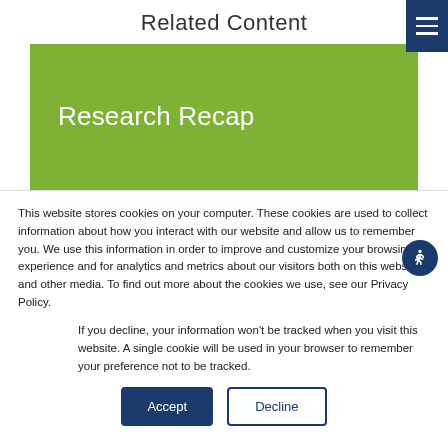Related Content
[Figure (illustration): Green banner with white text reading 'Research Recap']
This website stores cookies on your computer. These cookies are used to collect information about how you interact with our website and allow us to remember you. We use this information in order to improve and customize your browsing experience and for analytics and metrics about our visitors both on this website and other media. To find out more about the cookies we use, see our Privacy Policy.
If you decline, your information won't be tracked when you visit this website. A single cookie will be used in your browser to remember your preference not to be tracked.
Accept  Decline